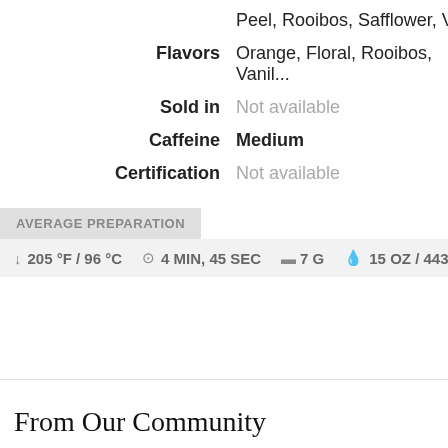Peel, Rooibos, Safflower, Vanilla
Flavors   Orange, Floral, Rooibos, Vanilla
Sold in   Not available
Caffeine   Medium
Certification   Not available
AVERAGE PREPARATION
205 °F / 96 °C   4 MIN, 45 SEC   7 G   15 OZ / 443 M
From Our Community